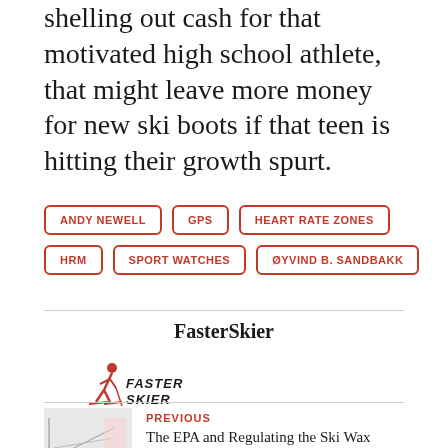shelling out cash for that motivated high school athlete, that might leave more money for new ski boots if that teen is hitting their growth spurt.
ANDY NEWELL
GPS
HEART RATE ZONES
HRM
SPORT WATCHES
ØYVIND B. SANDBAKK
FasterSkier
[Figure (logo): FasterSkier logo with red skier figure and stylized text]
PREVIOUS
The EPA and Regulating the Ski Wax